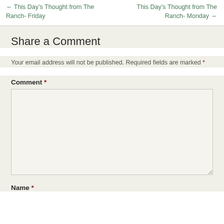← This Day's Thought from The Ranch- Friday
This Day's Thought from The Ranch- Monday →
Share a Comment
Your email address will not be published. Required fields are marked *
Comment *
Name *